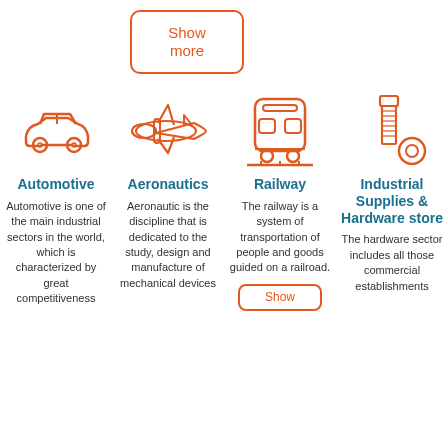[Figure (illustration): Show more button with orange border and orange text]
[Figure (illustration): Orange car icon for Automotive section]
Automotive
Automotive is one of the main industrial sectors in the world, which is characterized by great competitiveness
[Figure (illustration): Orange space shuttle icon for Aeronautics section]
Aeronautics
Aeronautic is the discipline that is dedicated to the study, design and manufacture of mechanical devices
[Figure (illustration): Orange train/bus icon for Railway section]
Railway
The railway is a system of transportation of people and goods guided on a railroad.
[Figure (illustration): Show more button in Railway column]
[Figure (illustration): Orange bolt and nut icon for Industrial Supplies & Hardware store section]
Industrial Supplies & Hardware store
The hardware sector includes all those commercial establishments